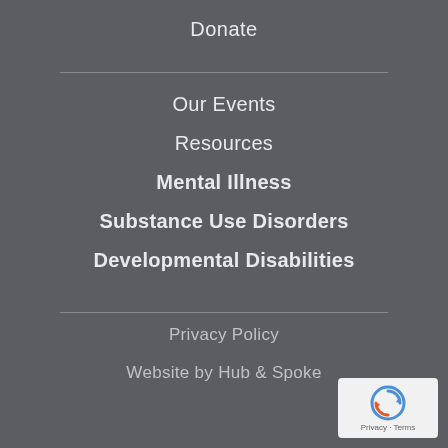Donate
Our Events
Resources
Mental Illness
Substance Use Disorders
Developmental Disabilities
Privacy Policy
Website by Hub & Spoke
[Figure (logo): reCAPTCHA badge with circular arrow icon and Privacy - Terms text]